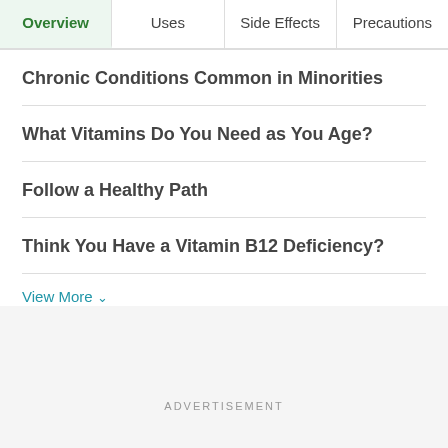Overview | Uses | Side Effects | Precautions
Chronic Conditions Common in Minorities
What Vitamins Do You Need as You Age?
Follow a Healthy Path
Think You Have a Vitamin B12 Deficiency?
View More
ADVERTISEMENT